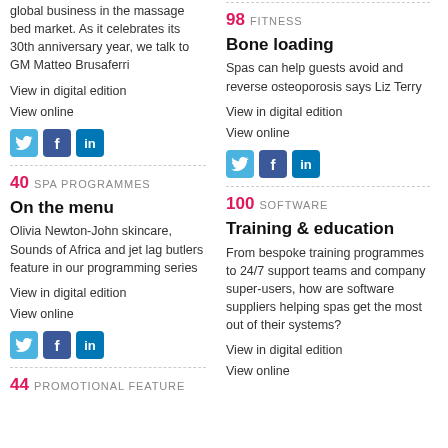global business in the massage bed market. As it celebrates its 30th anniversary year, we talk to GM Matteo Brusaferri
View in digital edition
View online
[Figure (other): Social media icons: Twitter, Facebook, LinkedIn]
40 SPA PROGRAMMES
On the menu
Olivia Newton-John skincare, Sounds of Africa and jet lag butlers feature in our programming series
View in digital edition
View online
[Figure (other): Social media icons: Twitter, Facebook, LinkedIn]
44 PROMOTIONAL FEATURE
98 FITNESS
Bone loading
Spas can help guests avoid and reverse osteoporosis says Liz Terry
View in digital edition
View online
[Figure (other): Social media icons: Twitter, Facebook, LinkedIn]
100 SOFTWARE
Training & education
From bespoke training programmes to 24/7 support teams and company super-users, how are software suppliers helping spas get the most out of their systems?
View in digital edition
View online